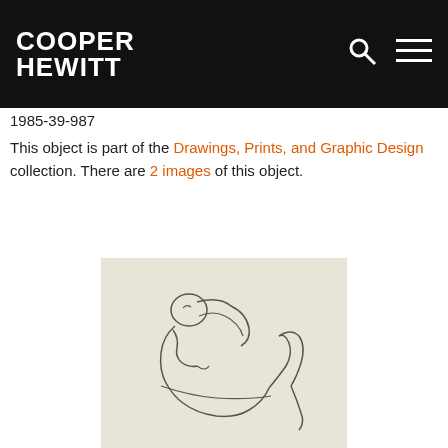COOPER HEWITT
1985-39-987
This object is part of the Drawings, Prints, and Graphic Design collection. There are 2 images of this object.
[Figure (illustration): A pencil sketch drawing of a reclining nude figure on a light beige/cream background, drawn in a loose gestural style with minimal line work.]